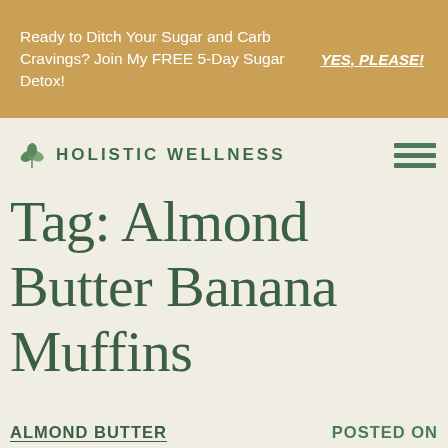Ready to Ditch Your Sugar and Carb Cravings? Join My FREE 5-Day Sugar Detox! YES, PLEASE!
[Figure (logo): Holistic Wellness logo with two green leaves icon and uppercase text HOLISTIC WELLNESS]
[Figure (other): Hamburger menu icon with three horizontal green bars]
Tag: Almond Butter Banana Muffins
ALMOND BUTTER
POSTED ON